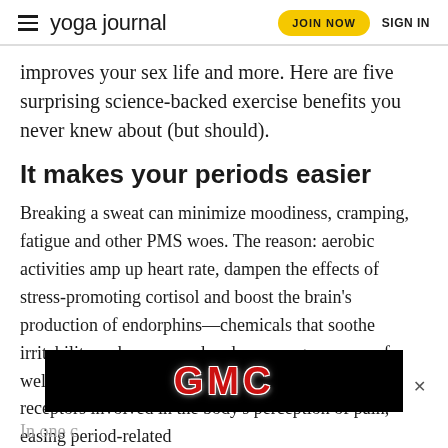yoga journal | JOIN NOW | SIGN IN
improves your sex life and more. Here are five surprising science-backed exercise benefits you never knew about (but should).
It makes your periods easier
Breaking a sweat can minimize moodiness, cramping, fatigue and other PMS woes. The reason: aerobic activities amp up heart rate, dampen the effects of stress-promoting cortisol and boost the brain's production of endorphins—chemicals that soothe irritability, enhance mood and encourage a sense of well-being. Endorphins also interact with brain receptors involved in the body's perception of pain, easing period-related cramping and headaches.
[Figure (other): GMC advertisement banner with red GMC lettering on black background with a close X button]
In one c